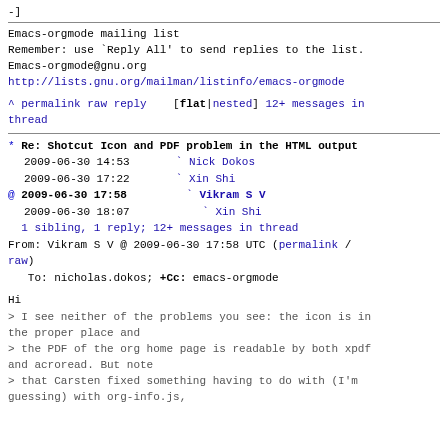-]
Emacs-orgmode mailing list
Remember: use `Reply All' to send replies to the list.
Emacs-orgmode@gnu.org
http://lists.gnu.org/mailman/listinfo/emacs-orgmode
^ permalink raw reply   [flat|nested] 12+ messages in thread
* Re: Shotcut Icon and PDF problem in the HTML output
  2009-06-30 14:53       ` Nick Dokos
  2009-06-30 17:22       ` Xin Shi
@ 2009-06-30 17:58         ` Vikram S V
  2009-06-30 18:07           ` Xin Shi
  1 sibling, 1 reply; 12+ messages in thread
From: Vikram S V @ 2009-06-30 17:58 UTC (permalink / raw)
   To: nicholas.dokos; +Cc: emacs-orgmode
Hi
> I see neither of the problems you see: the icon is in the proper place and
> the PDF of the org home page is readable by both xpdf and acroread. But note
> that Carsten fixed something having to do with (I'm guessing) with org-info.js,